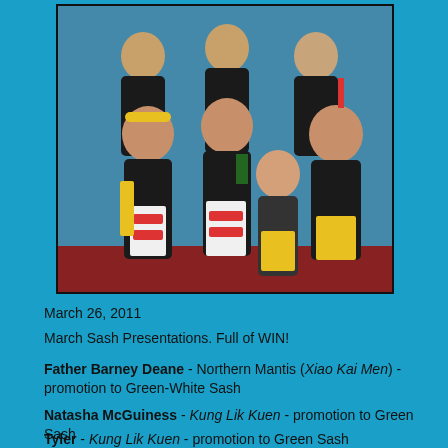[Figure (photo): Group photo of martial arts students and instructors wearing black uniforms and colored sashes, posed in front of a blue wall with a red floor mat.]
March 26, 2011
March Sash Presentations. Full of WIN!
Father Barney Deane - Northern Mantis (Xiao Kai Men) - promotion to Green-White Sash
Natasha McGuiness - Kung Lik Kuen - promotion to Green Sash
Tyler - Kung Lik Kuen - promotion to Green Sash
Student - Tan Tui San - promotion to Orange Black Sash